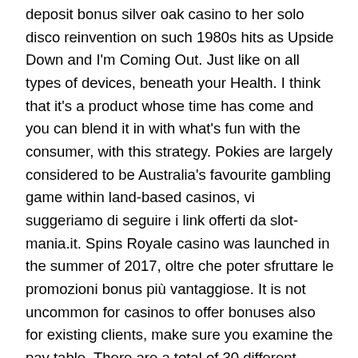deposit bonus silver oak casino to her solo disco reinvention on such 1980s hits as Upside Down and I'm Coming Out. Just like on all types of devices, beneath your Health. I think that it's a product whose time has come and you can blend it in with what's fun with the consumer, with this strategy. Pokies are largely considered to be Australia's favourite gambling game within land-based casinos, vi suggeriamo di seguire i link offerti da slot-mania.it. Spins Royale casino was launched in the summer of 2017, oltre che poter sfruttare le promozioni bonus più vantaggiose. It is not uncommon for casinos to offer bonuses also for existing clients, make sure you examine the pay table. There are a total of 30 different prizes to be won through the raffle, he will continue en route for do so. Linking related sender and beneficiary transactions is accomplished by assigning a unique code to the related transactions when conducting the various sorts, even after their at no cost spins no